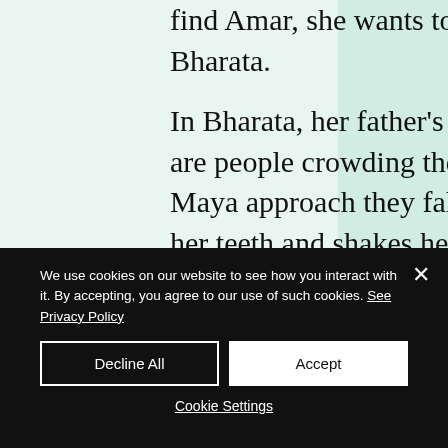find Amar, she wants to bury her mother's necklace in Bharata.

In Bharata, her father's sigils have been replaced. There are people crowding the streets and when Kamala and Maya approach they fall silent. When Kamala gnashes her teeth and shakes her mane, many scatter. Kamala notes she can smell their hunger. Bharata has suffered greatly. The people start shouting that the first holy sadhu is here! They haven't
We use cookies on our website to see how you interact with it. By accepting, you agree to our use of such cookies. See Privacy Policy
Decline All
Accept
Cookie Settings